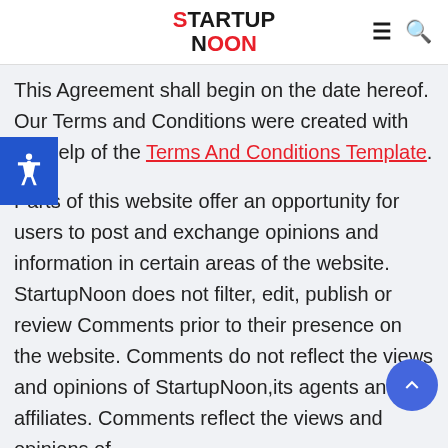STARTUP NOON
This Agreement shall begin on the date hereof. Our Terms and Conditions were created with the help of the Terms And Conditions Template.

Parts of this website offer an opportunity for users to post and exchange opinions and information in certain areas of the website. StartupNoon does not filter, edit, publish or review Comments prior to their presence on the website. Comments do not reflect the views and opinions of StartupNoon,its agents and/or affiliates. Comments reflect the views and opinions of